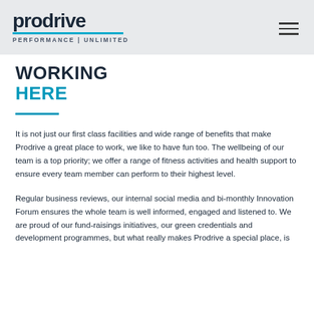prodrive PERFORMANCE | UNLIMITED
WORKING
HERE
It is not just our first class facilities and wide range of benefits that make Prodrive a great place to work, we like to have fun too. The wellbeing of our team is a top priority; we offer a range of fitness activities and health support to ensure every team member can perform to their highest level.
Regular business reviews, our internal social media and bi-monthly Innovation Forum ensures the whole team is well informed, engaged and listened to. We are proud of our fund-raisings initiatives, our green credentials and development programmes, but what really makes Prodrive a special place, is